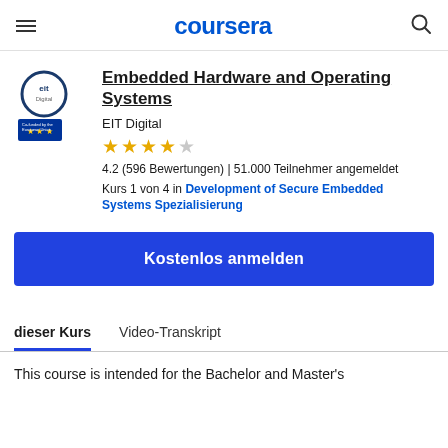coursera
Embedded Hardware and Operating Systems
EIT Digital
[Figure (other): 4.2 star rating shown with 4 filled stars and 1 empty star]
4.2 (596 Bewertungen) | 51.000 Teilnehmer angemeldet
Kurs 1 von 4 in Development of Secure Embedded Systems Spezialisierung
Kostenlos anmelden
dieser Kurs
Video-Transkript
This course is intended for the Bachelor and Master's